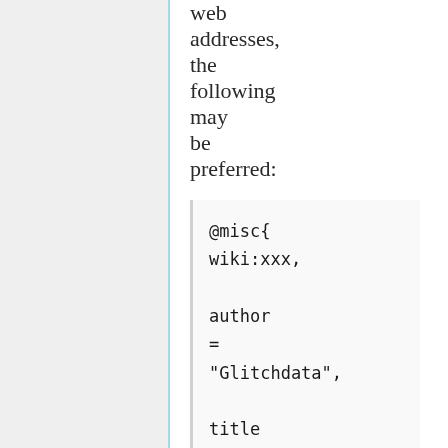web addresses, the following may be preferred:
@misc{
wiki:xxx,

author
=
"Glitchdata",

title
=
"Cyber Features
-
-
-